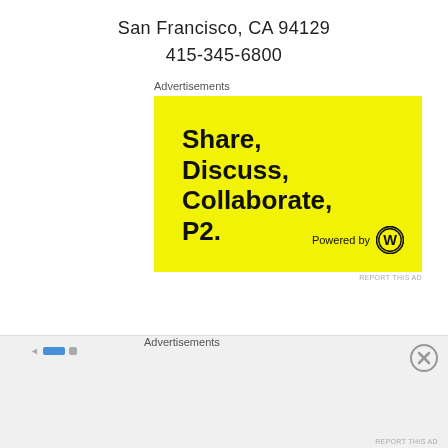San Francisco, CA 94129
415-345-6800
Advertisements
[Figure (illustration): Yellow advertisement banner for P2 by WordPress. Large bold black text reads 'Share, Discuss, Collaborate, P2.' with 'Powered by' and WordPress logo in the bottom right corner.]
REPORT THIS AD
Advertisements
REPORT THIS AD